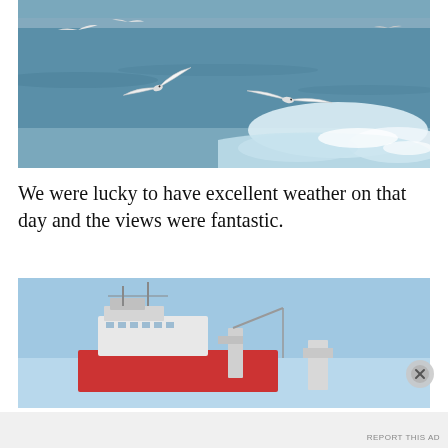[Figure (photo): Seagulls flying over choppy ocean water with white wake foam, distant shoreline visible in background]
We were lucky to have excellent weather on that day and the views were fantastic.
[Figure (photo): Large cargo or industrial ship against a bright blue sky, visible from water level]
Advertisements